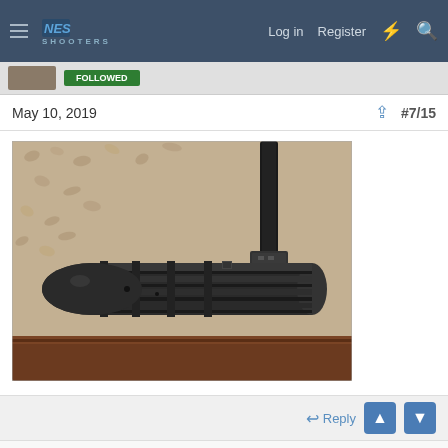NES SHOOTERS — Log in  Register
May 10, 2019  #7/15
[Figure (photo): Close-up photo of a rifle bolt/barrel mechanism on a carpet background, showing machined metal parts including a cylindrical bolt with grooves and what appears to be a sight or front sight base.]
Reply
majspud  NES Life Member  NES Member  Rating - 100%  60  0  0